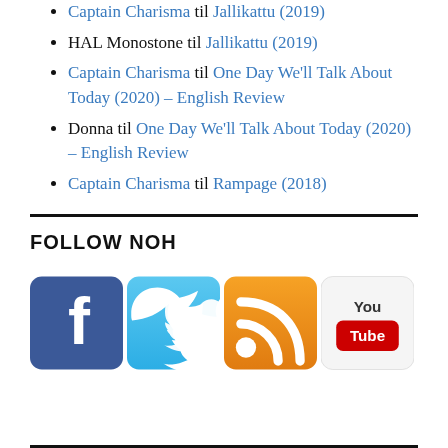Captain Charisma til Jallikattu (2019)
HAL Monostone til Jallikattu (2019)
Captain Charisma til One Day We'll Talk About Today (2020) – English Review
Donna til One Day We'll Talk About Today (2020) – English Review
Captain Charisma til Rampage (2018)
FOLLOW NOH
[Figure (infographic): Social media icons: Facebook, Twitter, RSS feed, YouTube]